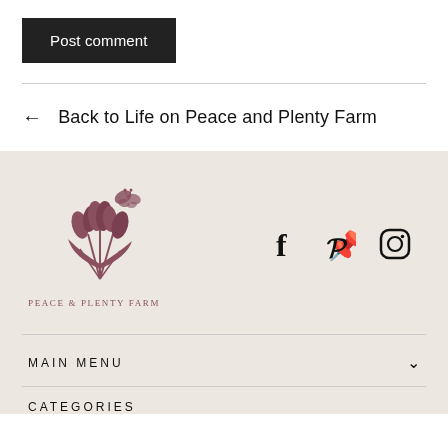Post comment
← Back to Life on Peace and Plenty Farm
[Figure (logo): Peace & Plenty Farm logo: stylized saffron crocus flowers with a butterfly, in dark rose/mauve color, with text 'PEACE & PLENTY FARM' below in spaced serif lettering]
[Figure (infographic): Social media icons: Facebook (f), Pinterest (P), Instagram (camera circle outline) — three icons in a row]
MAIN MENU
CATEGORIES